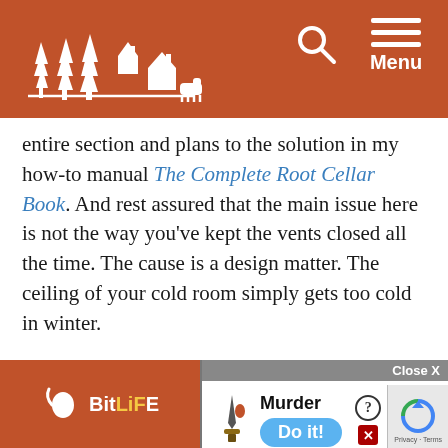Website header with logo, search icon, and Menu
entire section and plans to the solution in my how-to manual The Complete Root Cellar Book. And rest assured that the main issue here is not the way you've kept the vents closed all the time. The cause is a design matter. The ceiling of your cold room simply gets too cold in winter.
The only thing between the inside of your cold room and sub-zero outdoor wintertime temperatures is a couple of inches of concrete. That's not enough. When the inside surface of the concrete gets cold – as it inevitably will – it causes moisture to be forced out of the air, causing the droplets that v... the ce... gets d...
[Figure (screenshot): BitLife advertisement banner at bottom of page with red background and yellow 'BitLiFE' text]
[Figure (screenshot): Murder game advertisement with 'Close X' button, murder title, knife graphic, and 'Do it!' blue button]